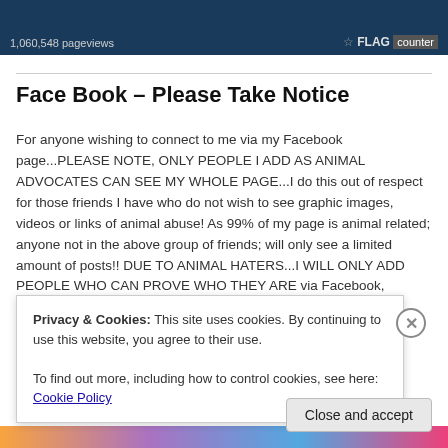[Figure (screenshot): Flag counter banner showing 1,060,548 pageviews with FLAG counter logo in bottom right]
Face Book – Please Take Notice
For anyone wishing to connect to me via my Facebook page...PLEASE NOTE, ONLY PEOPLE I ADD AS ANIMAL ADVOCATES CAN SEE MY WHOLE PAGE...I do this out of respect for those friends I have who do not wish to see graphic images, videos or links of animal abuse! As 99% of my page is animal related; anyone not in the above group of friends; will only see a limited amount of posts!! DUE TO ANIMAL HATERS...I WILL ONLY ADD PEOPLE WHO CAN PROVE WHO THEY ARE via Facebook, Wordpress, Twitter etc. & WHO HAVE A GENUINE
Privacy & Cookies: This site uses cookies. By continuing to use this website, you agree to their use.
To find out more, including how to control cookies, see here: Cookie Policy